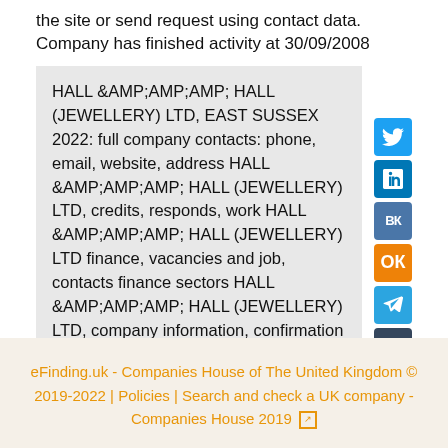the site or send request using contact data. Company has finished activity at 30/09/2008
HALL &AMP;AMP;AMP; HALL (JEWELLERY) LTD, EAST SUSSEX 2022: full company contacts: phone, email, website, address HALL &AMP;AMP;AMP; HALL (JEWELLERY) LTD, credits, responds, work HALL &AMP;AMP;AMP; HALL (JEWELLERY) LTD finance, vacancies and job, contacts finance sectors HALL &AMP;AMP;AMP; HALL (JEWELLERY) LTD, company information, confirmation statement (annual return), company accounts
eFinding.uk - Companies House of The United Kingdom © 2019-2022 | Policies | Search and check a UK company - Companies House 2019 [external link]